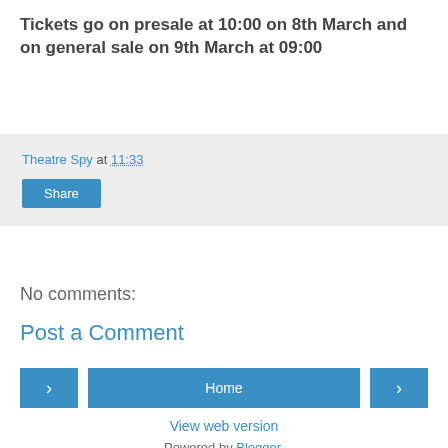Tickets go on presale at 10:00 on 8th March and on general sale on 9th March at 09:00
Theatre Spy at 11:33
Share
No comments:
Post a Comment
Home
View web version
Powered by Blogger.